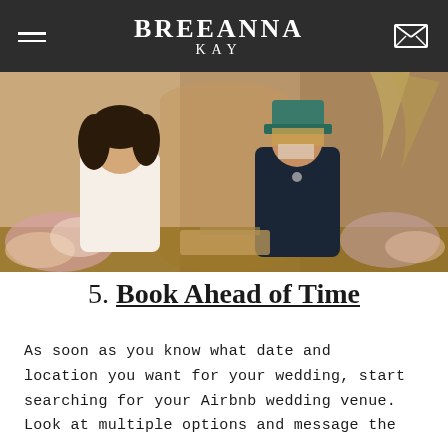BREEANNA KAY
[Figure (photo): A couple sharing an intimate moment at a decorated wedding table with floral arrangements and dried palm leaves]
5. Book Ahead of Time
As soon as you know what date and location you want for your wedding, start searching for your Airbnb wedding venue. Look at multiple options and message the